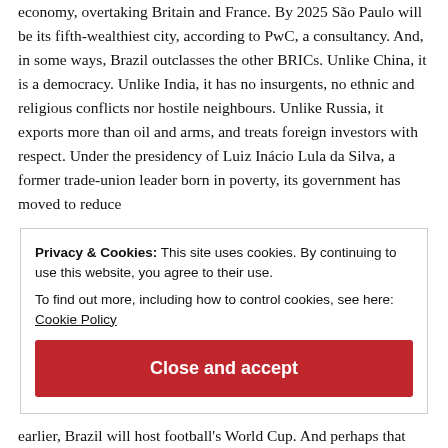economy, overtaking Britain and France. By 2025 São Paulo will be its fifth-wealthiest city, according to PwC, a consultancy. And, in some ways, Brazil outclasses the other BRICs. Unlike China, it is a democracy. Unlike India, it has no insurgents, no ethnic and religious conflicts nor hostile neighbours. Unlike Russia, it exports more than oil and arms, and treats foreign investors with respect. Under the presidency of Luiz Inácio Lula da Silva, a former trade-union leader born in poverty, its government has moved to reduce
Privacy & Cookies: This site uses cookies. By continuing to use this website, you agree to their use.
To find out more, including how to control cookies, see here:
Cookie Policy
Close and accept
earlier, Brazil will host football's World Cup. And perhaps that